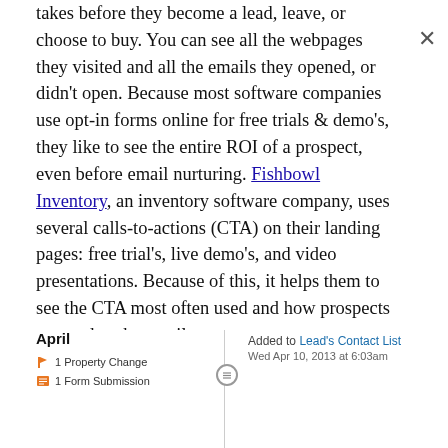takes before they become a lead, leave, or choose to buy. You can see all the webpages they visited and all the emails they opened, or didn't open. Because most software companies use opt-in forms online for free trials & demo's, they like to see the entire ROI of a prospect, even before email nurturing. Fishbowl Inventory, an inventory software company, uses several calls-to-actions (CTA) on their landing pages: free trial's, live demo's, and video presentations. Because of this, it helps them to see the CTA most often used and how prospects respond to the email nurture sequences.
April
1 Property Change
1 Form Submission
Added to Lead's Contact List
Wed Apr 10, 2013 at 6:03am